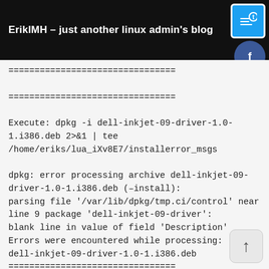ErikIMH – just another linux admin's blog
================================

================================

Execute: dpkg -i dell-inkjet-09-driver-1.0-1.i386.deb 2>&1 | tee /home/eriks/lua_iXv8E7/installerror_msgs

dpkg: error processing archive dell-inkjet-09-driver-1.0-1.i386.deb (–install):
parsing file '/var/lib/dpkg/tmp.ci/control' near line 9 package 'dell-inkjet-09-driver':
blank line in value of field 'Description'
Errors were encountered while processing:
dell-inkjet-09-driver-1.0-1.i386.deb
================================

dpkg: error processing archive dell-inkjet-09-